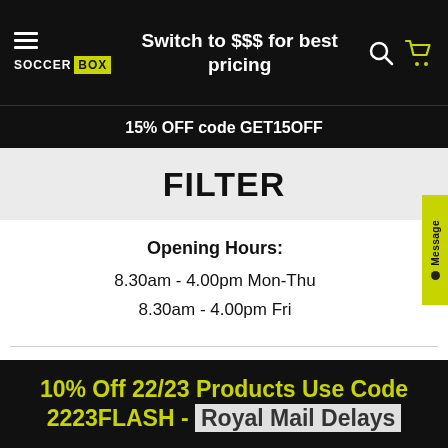Switch to $$$ for best pricing
15% OFF code GET15OFF
FILTER
Opening Hours:
8.30am - 4.00pm Mon-Thu
8.30am - 4.00pm Fri
© 1997 - 2022 All rights reserved. Soccer Box™ Unit 8 Palmbourne Industrial Park, Castle Street,
10% Off 22/23 Products Use Code 2223FLASH - Royal Mail Delays